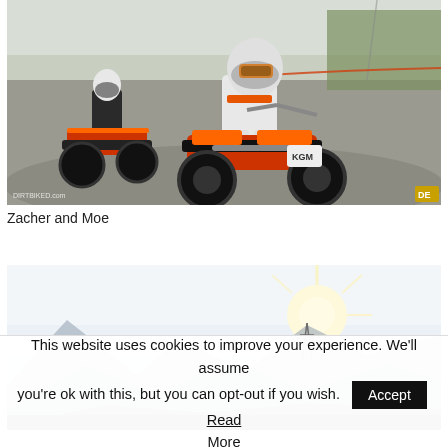[Figure (photo): Two motocross riders on dirt bikes on a gravel hillside. The foreground rider wears white, orange, and blue racing gear with a full-face helmet. Another rider in black gear is behind. Power lines and green trees visible in background. Watermark 'DIRTBIKED.com' in bottom left, 'DE' badge in bottom right.]
Zacher and Moe
[Figure (photo): Scenic mountain landscape with misty hills and a bright sunburst. Power transmission tower visible on the ridge. Hazy, atmospheric lighting.]
This website uses cookies to improve your experience. We'll assume you're ok with this, but you can opt-out if you wish. Accept Read More